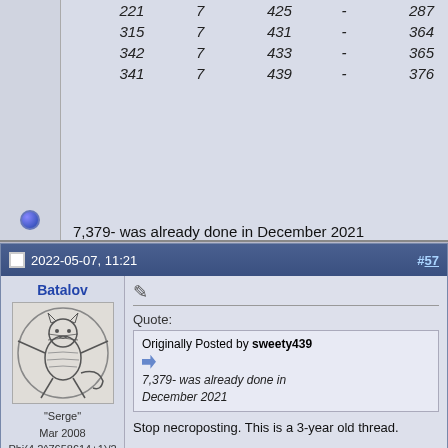| 221 | 7 | 425 | - | 287 |
| 315 | 7 | 431 | - | 364 |
| 342 | 7 | 433 | - | 365 |
| 341 | 7 | 439 | - | 376 |
7,379- was already done in December 2021
2022-05-07, 11:21  #57
Batalov
[Figure (illustration): Vitruvian cat illustration - a cat drawn in the style of Leonardo da Vinci's Vitruvian Man, with arms and legs spread in a circle]
"Serge"
Mar 2008
Phi(4,2^7658614+1)/2
2×5×991 Posts
Quote:
Originally Posted by sweety439
7,379- was already done in December 2021
Stop necroposting. This is a 3-year old thread.

And we already had discussed this. Was it not spelled out enough?